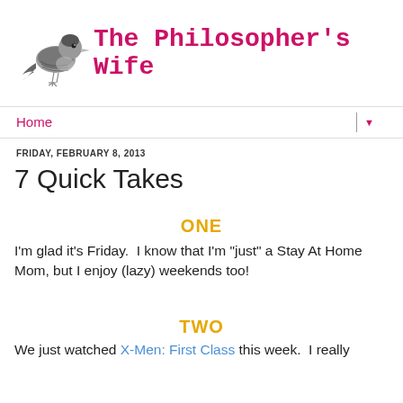[Figure (illustration): A pencil sketch illustration of a small bird (sparrow/finch) facing left, in grey tones]
The Philosopher's Wife
Home
FRIDAY, FEBRUARY 8, 2013
7 Quick Takes
ONE
I'm glad it's Friday.  I know that I'm "just" a Stay At Home Mom, but I enjoy (lazy) weekends too!
TWO
We just watched X-Men: First Class this week.  I really